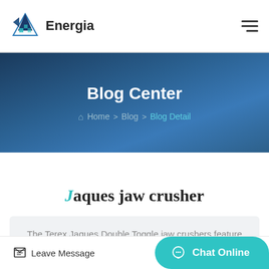Energia
Blog Center
Home > Blog > Blog Detail
Jaques jaw crusher
The Terex Jaques Double Toggle jaw crushers feature large gape feed openings, high production and low operating costs. These rugged machines are manufactured with heav..
Leave Message
Chat Online